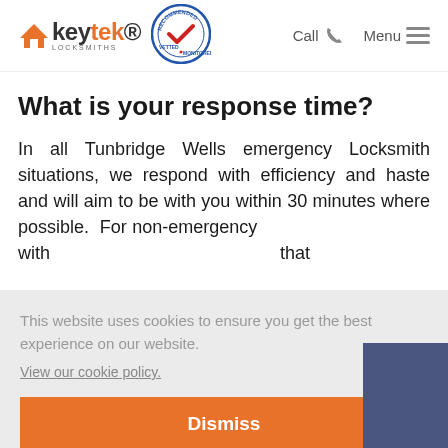[Figure (logo): Keytek Locksmiths logo with orange house icon and text]
[Figure (logo): Recommended Vetted Monitored circular badge with checkmark]
Call  Menu
What is your response time?
In all Tunbridge Wells emergency Locksmith situations, we respond with efficiency and haste and will aim to be with you within 30 minutes where possible.  For non-emergency  with  that
This website uses cookies to ensure you get the best experience on our website.
View our cookie policy.
Dismiss